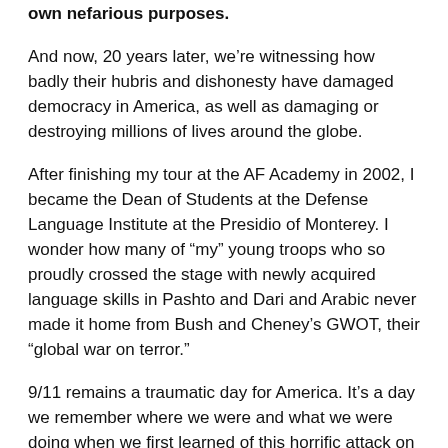own nefarious purposes.
And now, 20 years later, we're witnessing how badly their hubris and dishonesty have damaged democracy in America, as well as damaging or destroying millions of lives around the globe.
After finishing my tour at the AF Academy in 2002, I became the Dean of Students at the Defense Language Institute at the Presidio of Monterey. I wonder how many of “my” young troops who so proudly crossed the stage with newly acquired language skills in Pashto and Dari and Arabic never made it home from Bush and Cheney’s GWOT, their “global war on terror.”
9/11 remains a traumatic day for America. It’s a day we remember where we were and what we were doing when we first learned of this horrific attack on our country. However briefly, 9/11 brought America together, but military members out front with their lives...